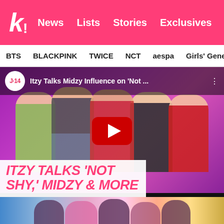k! News Lists Stories Exclusives
BTS  BLACKPINK  TWICE  NCT  aespa  Girls' Generation
[Figure (screenshot): YouTube video thumbnail showing five ITZY members against a pink/purple background with J-14 logo badge and title 'Itzy Talks Midzy Influence on Not ...' and red YouTube play button overlay. White overlay text reads 'ITZY TALKS NOT SHY, MIDZY & MORE' in bold pink italic font.]
[Figure (photo): Bottom partial image showing ITZY members performing on stage, colorful background visible.]